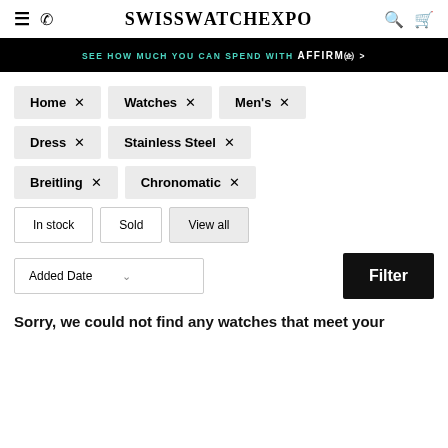SwissWatchExpo
SEE HOW MUCH YOU CAN SPEND WITH affirm >
Home ×
Watches ×
Men's ×
Dress ×
Stainless Steel ×
Breitling ×
Chronomatic ×
In stock
Sold
View all
Added Date
Filter
Sorry, we could not find any watches that meet your